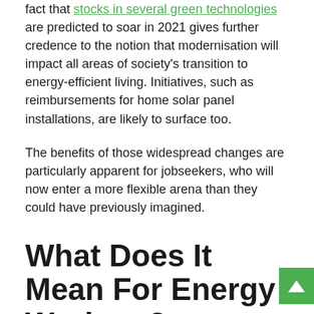fact that stocks in several green technologies are predicted to soar in 2021 gives further credence to the notion that modernisation will impact all areas of society's transition to energy-efficient living. Initiatives, such as reimbursements for home solar panel installations, are likely to surface too.
The benefits of those widespread changes are particularly apparent for jobseekers, who will now enter a more flexible arena than they could have previously imagined.
What Does It Mean For Energy Workers?
Overall, the change in focus won't only impact the environment and the process of gaining a greener climate. The increased spotlight and investment will support large sectors of the economy, which will translate to better job